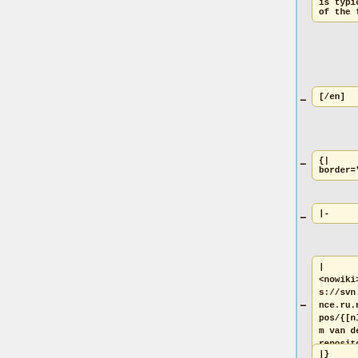is typically
of the form:
[/en]
{|
border="1"
|-
|
<nowiki>https://svn.science.ru.nl/repos/{[nl]naam van de repository[/nl][en]repository name[/en]}</nowiki>
|}